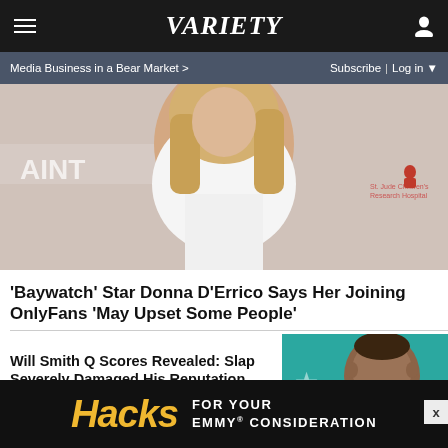Variety — Media Business in a Bear Market > | Subscribe | Log in
[Figure (photo): Blonde woman in white outfit at a St. Jude Children's Research Hospital / SAINT by Ira DeWitt event, posing on a branded step-and-repeat backdrop]
'Baywatch' Star Donna D'Errico Says Her Joining OnlyFans 'May Upset Some People'
Will Smith Q Scores Revealed: Slap Severely Damaged His Reputation (EXCLUSIVE)
[Figure (photo): Thumbnail photo of Will Smith smiling, against a teal/blue background with star decorations]
[Figure (other): Advertisement banner for 'Hacks' Emmy consideration]